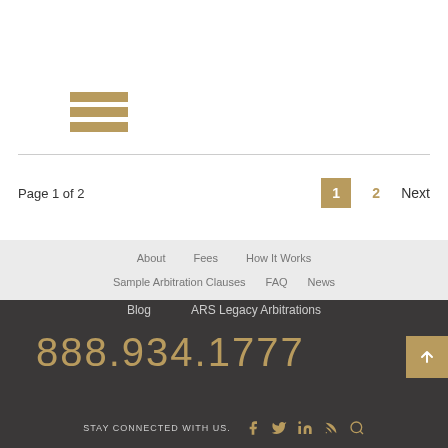[Figure (illustration): Hamburger menu icon with three horizontal gold/tan bars]
Page 1 of 2
1  2  Next
About    Fees    How It Works
Sample Arbitration Clauses    FAQ    News
Blog    ARS Legacy Arbitrations
888.934.1777
STAY CONNECTED WITH US.
[Figure (illustration): Social media icons: Facebook, Twitter, LinkedIn, RSS, Search]